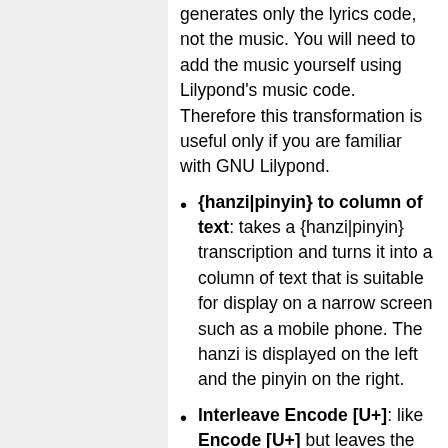generates only the lyrics code, not the music. You will need to add the music yourself using Lilypond's music code. Therefore this transformation is useful only if you are familiar with GNU Lilypond.
{hanzi|pinyin} to column of text: takes a {hanzi|pinyin} transcription and turns it into a column of text that is suitable for display on a narrow screen such as a mobile phone. The hanzi is displayed on the left and the pinyin on the right.
Interleave Encode [U+]: like Encode [U+] but leaves the original text interleaved with the encoded version. This enables you to see both the text and its